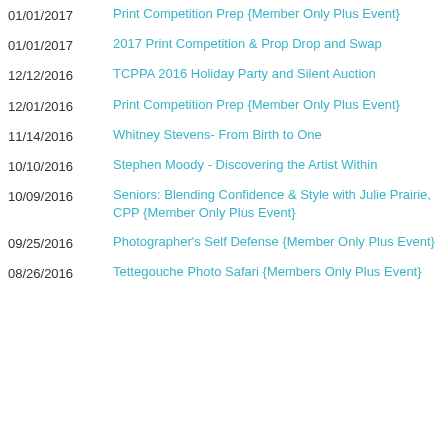01/01/2017 | Print Competition Prep {Member Only Plus Event}
01/01/2017 | 2017 Print Competition & Prop Drop and Swap
12/12/2016 | TCPPA 2016 Holiday Party and Silent Auction
12/01/2016 | Print Competition Prep {Member Only Plus Event}
11/14/2016 | Whitney Stevens- From Birth to One
10/10/2016 | Stephen Moody - Discovering the Artist Within
10/09/2016 | Seniors: Blending Confidence & Style with Julie Prairie, CPP {Member Only Plus Event}
09/25/2016 | Photographer's Self Defense {Member Only Plus Event}
08/26/2016 | Tettegouche Photo Safari {Members Only Plus Event}